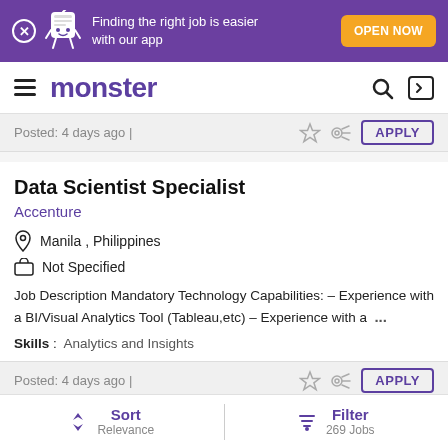[Figure (screenshot): Purple banner with Monster mascot and 'Finding the right job is easier with our app' text and orange OPEN NOW button]
monster
Posted: 4 days ago |
Data Scientist Specialist
Accenture
Manila , Philippines
Not Specified
Job Description Mandatory Technology Capabilities: – Experience with a BI/Visual Analytics Tool (Tableau,etc) – Experience with a ...
Skills : Analytics and Insights
Posted: 4 days ago |
Sort Relevance | Filter 269 Jobs